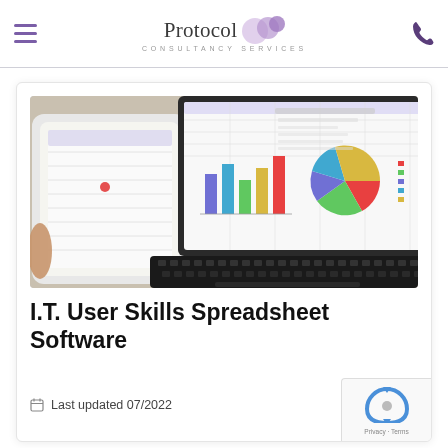Protocol Consultancy Services
[Figure (photo): Laptop displaying bar chart and pie chart on screen, with a tablet beside it on a desk]
I.T. User Skills Spreadsheet Software
Last updated 07/2022